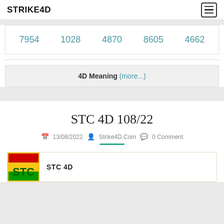STRIKE4D
| 7954 | 1028 | 4870 | 8605 | 4662 |
4D Meaning (more...)
STC 4D 108/22
13/08/2022  Strike4D.Com  0 Comment
STC 4D